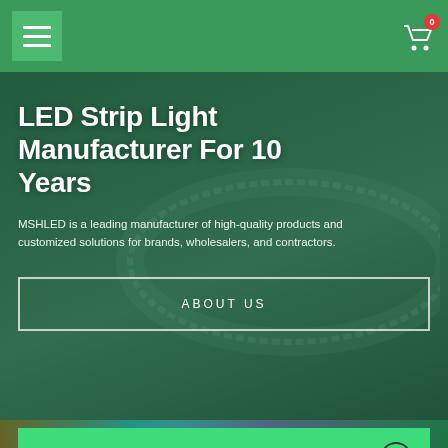Navigation header with hamburger menu and cart icon (0 items)
LED Strip Light Manufacturer For 10 Years
MSHLED is a leading manufacturer of high-quality products and customized solutions for brands, wholesalers, and contractors.
ABOUT US
START YOUR PROJECT